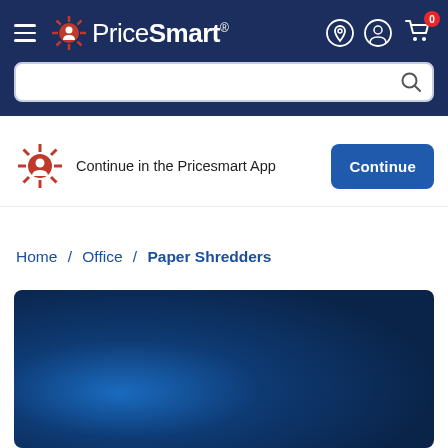PriceSmart header navigation bar with hamburger menu, logo, location icon, account icon, cart icon (0 items), and search bar
Continue in the Pricesmart App
Continue
Home / Office / Paper Shredders
[Figure (screenshot): Blue gradient product image area at the bottom of the PriceSmart website page for Paper Shredders category]